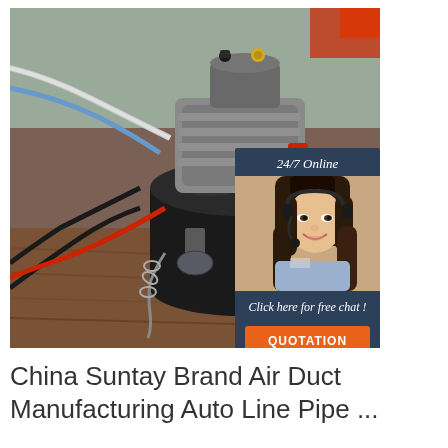[Figure (photo): Industrial air compressor unit with hoses and fittings on a wooden surface, with a 24/7 online chat widget overlay featuring a female customer service agent wearing a headset]
China Suntay Brand Air Duct Manufacturing Auto Line Pipe ...